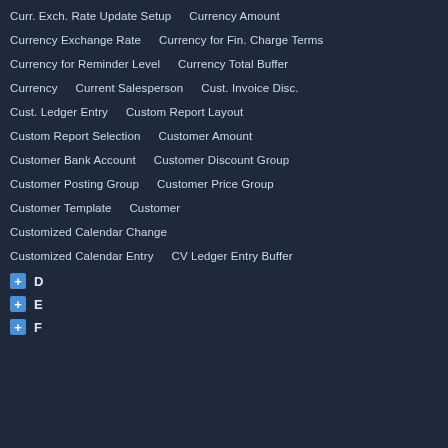Curr. Exch. Rate Update Setup    Currency Amount
Currency Exchange Rate    Currency for Fin. Charge Terms
Currency for Reminder Level    Currency Total Buffer
Currency    Current Salesperson    Cust. Invoice Disc.
Cust. Ledger Entry    Custom Report Layout
Custom Report Selection    Customer Amount
Customer Bank Account    Customer Discount Group
Customer Posting Group    Customer Price Group
Customer Template    Customer
Customized Calendar Change
Customized Calendar Entry    CV Ledger Entry Buffer
D
E
F